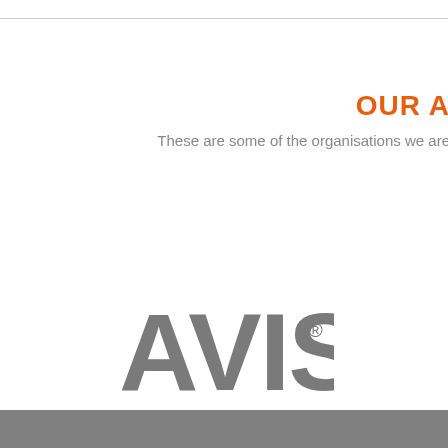OUR A
These are some of the organisations we are
[Figure (logo): AVIS car rental logo in gray text with registered trademark symbol]